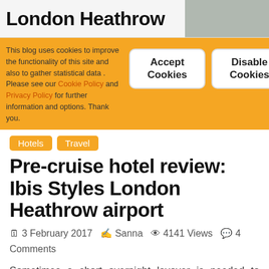London Heathrow
This blog uses cookies to improve the functionality of this site and also to gather statistical data . Please see our Cookie Policy and Privacy Policy for further information and options. Thank you.
Accept Cookies | Disable Cookies
Hotels
Travel
Pre-cruise hotel review: Ibis Styles London Heathrow airport
3 February 2017  Sanna  4141 Views  4 Comments
Sometimes a short overnight layover is needed to catch a connecting flight – we had such a stop at London Heathrow on our way to an MSC cruise sailing. Ibis Styles London Heathrow suited me to a tee (see why) and was excellent value as well. Read more to see why you too should consider it too for your Heathrow layover!